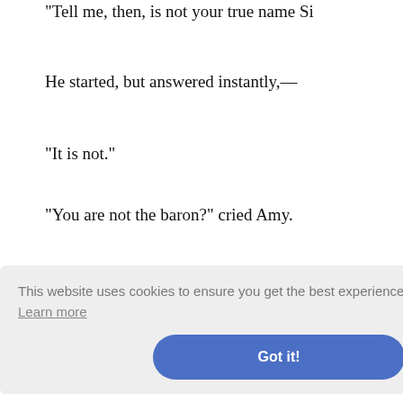"Tell me, then, is not your true name Si—
He started, but answered instantly,—
"It is not."
"You are not the baron?" cried Amy.
"No; I will swear it if you wish."
"Who, then, are you?"
"Shall I confess?"
to speak
"Your lover."